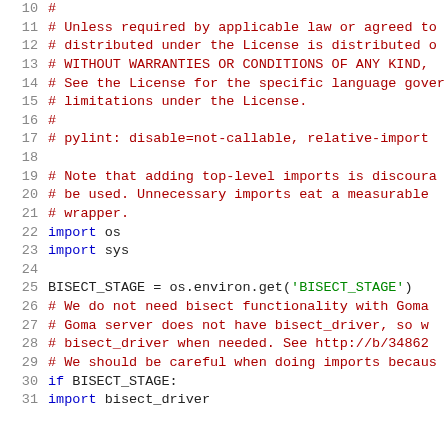[Figure (screenshot): Source code listing showing Python file lines 10-31, with line numbers in gray on the left, comment lines in dark red, keywords in blue, and string literals in green on a white background.]